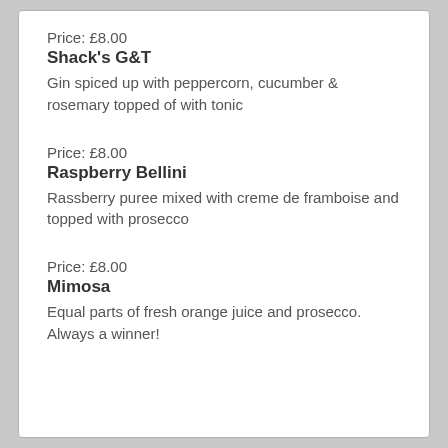Price: £8.00
Shack's G&T
Gin spiced up with peppercorn, cucumber & rosemary topped of with tonic
Price: £8.00
Raspberry Bellini
Rassberry puree mixed with creme de framboise and topped with prosecco
Price: £8.00
Mimosa
Equal parts of fresh orange juice and prosecco. Always a winner!